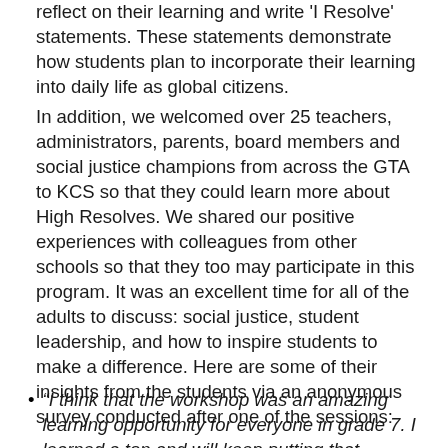reflect on their learning and write 'I Resolve' statements. These statements demonstrate how students plan to incorporate their learning into daily life as global citizens.
In addition, we welcomed over 25 teachers, administrators, parents, board members and social justice champions from across the GTA to KCS so that they could learn more about High Resolves. We shared our positive experiences with colleagues from other schools so that they too may participate in this program. It was an excellent time for all of the adults to discuss: social justice, student leadership, and how to inspire students to make a difference. Here are some of their insights from the students via an anonymous survey conducted after one of the sessions:
“I think that the workshop was an amazing learning opportunity for everyone in grade 7. I learned a ton and will keep putting that learning forward to help the earth and the people that live there. I have a feeling that I